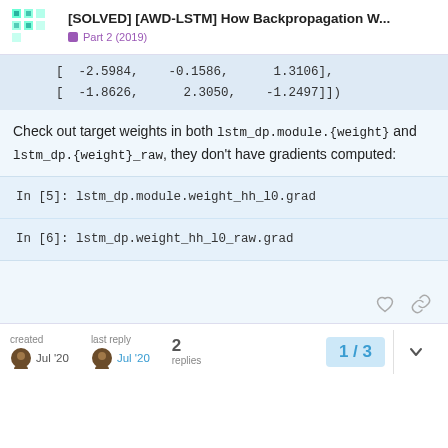[SOLVED] [AWD-LSTM] How Backpropagation W... Part 2 (2019)
[ -2.5984,  -0.1586,   1.3106],
[ -1.8626,   2.3050,  -1.2497]])
Check out target weights in both lstm_dp.module.{weight} and lstm_dp.{weight}_raw, they don't have gradients computed:
In [5]: lstm_dp.module.weight_hh_l0.grad

In [6]: lstm_dp.weight_hh_l0_raw.grad
created Jul '20   last reply Jul '20   2 replies   1 / 3